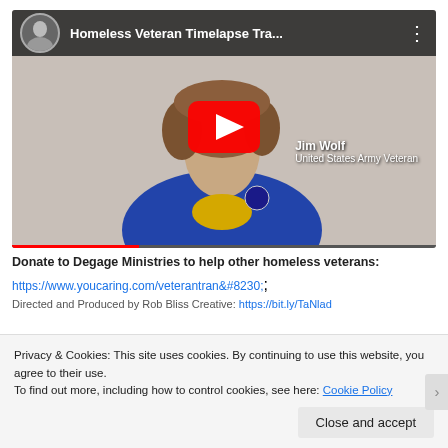[Figure (screenshot): YouTube video thumbnail showing 'Homeless Veteran Timelapse Tra...' with a play button overlay. Shows a man with disheveled brown hair wearing a blue jacket, labeled 'Jim Wolf, United States Army Veteran'. YouTube header bar with channel avatar and video title visible.]
Donate to Degage Ministries to help other homeless veterans:
https://www.youcaring.com/veterantran&#8230;;
Directed and Produced by Rob Bliss Creative: https://bit.ly/TaNlad
Privacy & Cookies: This site uses cookies. By continuing to use this website, you agree to their use.
To find out more, including how to control cookies, see here: Cookie Policy
Close and accept